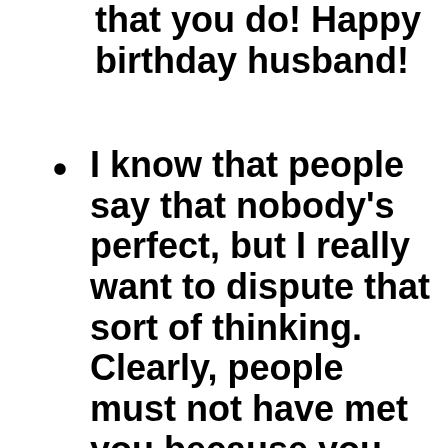that you do! Happy birthday husband!
I know that people say that nobody's perfect, but I really want to dispute that sort of thinking. Clearly, people must not have met you because you are an absolutely perfect husband.